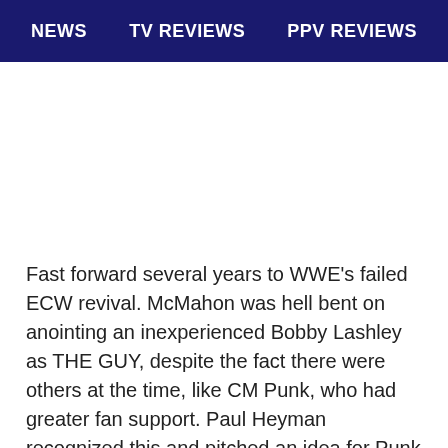NEWS   TV REVIEWS   PPV REVIEWS
Fast forward several years to WWE’s failed ECW revival. McMahon was hell bent on anointing an inexperienced Bobby Lashley as THE GUY, despite the fact there were others at the time, like CM Punk, who had greater fan support. Paul Heyman recognized this and pitched an idea for Punk to win the ECW title in the Elimination Chamber match at the ill-fated December to Dismember show. Vince, stubborn as a mule, stuck to his guns and put the title on Lashley. According to Scott Williams’